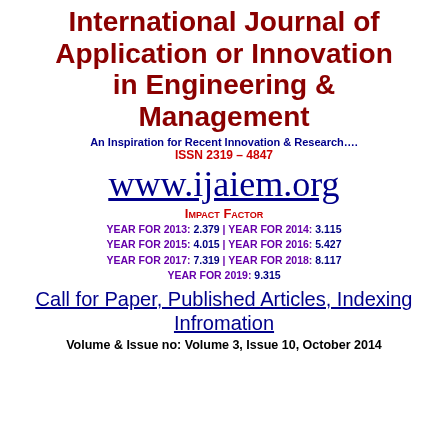International Journal of Application or Innovation in Engineering & Management
An Inspiration for Recent Innovation & Research….
ISSN 2319 – 4847
www.ijaiem.org
IMPACT FACTOR
YEAR FOR 2013: 2.379 | YEAR FOR 2014: 3.115
YEAR FOR 2015: 4.015 | YEAR FOR 2016: 5.427
YEAR FOR 2017: 7.319 | YEAR FOR 2018: 8.117
YEAR FOR 2019: 9.315
Call for Paper, Published Articles, Indexing Infromation
Volume & Issue no: Volume 3, Issue 10, October 2014